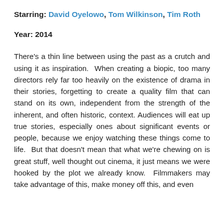Starring: David Oyelowo, Tom Wilkinson, Tim Roth
Year: 2014
There's a thin line between using the past as a crutch and using it as inspiration. When creating a biopic, too many directors rely far too heavily on the existence of drama in their stories, forgetting to create a quality film that can stand on its own, independent from the strength of the inherent, and often historic, context. Audiences will eat up true stories, especially ones about significant events or people, because we enjoy watching these things come to life. But that doesn't mean that what we're chewing on is great stuff, well thought out cinema, it just means we were hooked by the plot we already know. Filmmakers may take advantage of this, make money off this, and even